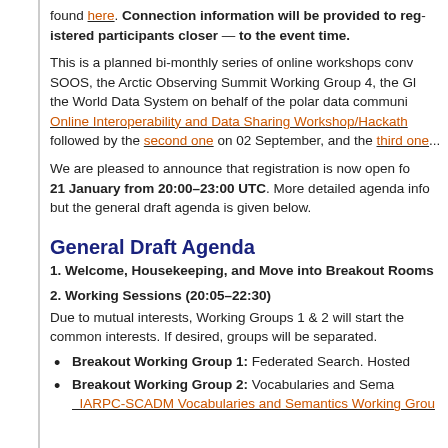found here. Connection information will be provided to registered participants closer to the event time.
This is a planned bi-monthly series of online workshops convened by SOOS, the Arctic Observing Summit Working Group 4, the Global Cryosphere Watch, and the World Data System on behalf of the polar data community. The first Online Interoperability and Data Sharing Workshop/Hackathon was held in July, followed by the second one on 02 September, and the third one ...
We are pleased to announce that registration is now open for the workshop on 21 January from 20:00–23:00 UTC. More detailed agenda information is forthcoming, but the general draft agenda is given below.
General Draft Agenda
1. Welcome, Housekeeping, and Move into Breakout Rooms
2. Working Sessions (20:05–22:30)
Due to mutual interests, Working Groups 1 & 2 will start the session discussing common interests. If desired, groups will be separated.
Breakout Working Group 1: Federated Search. Hosted by...
Breakout Working Group 2: Vocabularies and Semantics — IARPC-SCADM Vocabularies and Semantics Working Group...